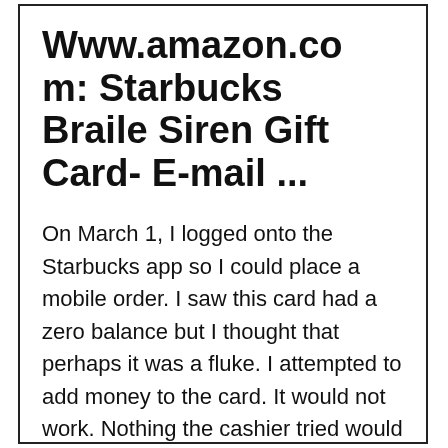Www.amazon.com: Starbucks Braile Siren Gift Card- E-mail ...
On March 1, I logged onto the Starbucks app so I could place a mobile order. I saw this card had a zero balance but I thought that perhaps it was a fluke. I attempted to add money to the card. It would not work. Nothing the cashier tried would let me use this card or any other cards in my Starbucks app. I let it go and paid